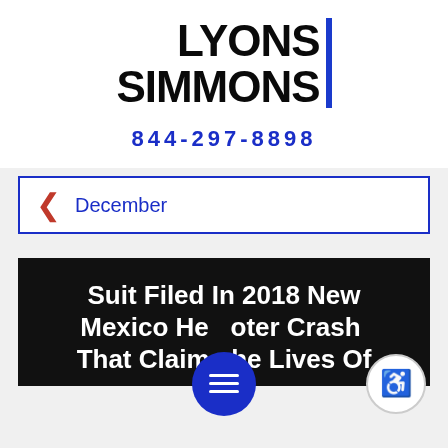[Figure (logo): Lyons Simmons law firm logo with bold black text and a blue vertical bar accent]
844-297-8898
< December
Suit Filed In 2018 New Mexico Helicopter Crash That Claimed The Lives Of